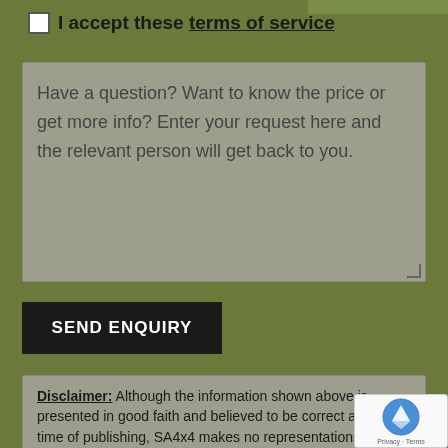I accept these terms of service
Have a question? Want to know the price or get more info? Enter your request here and the relevant person will get back to you.
SEND ENQUIRY
Disclaimer: Although the information shown above is presented in good faith and believed to be correct at the time of publishing, SA4x4 makes no representations or warranties as to the completeness or accuracy of the information. SA4x4 has no liability for any errors or omissions in the content freely displayed. Please note